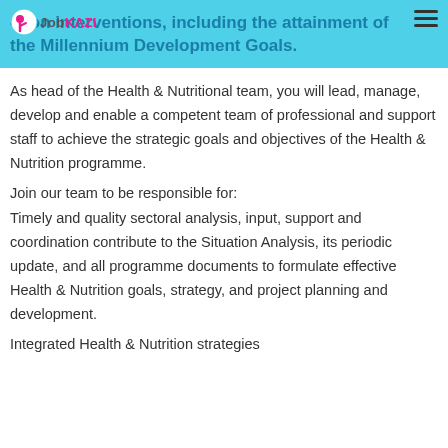ction interventions, including the attainment of the Millennium Development Goals.
As head of the Health & Nutritional team, you will lead, manage, develop and enable a competent team of professional and support staff to achieve the strategic goals and objectives of the Health & Nutrition programme.
Join our team to be responsible for:
Timely and quality sectoral analysis, input, support and coordination contribute to the Situation Analysis, its periodic update, and all programme documents to formulate effective Health & Nutrition goals, strategy, and project planning and development.
Integrated Health & Nutrition strategies